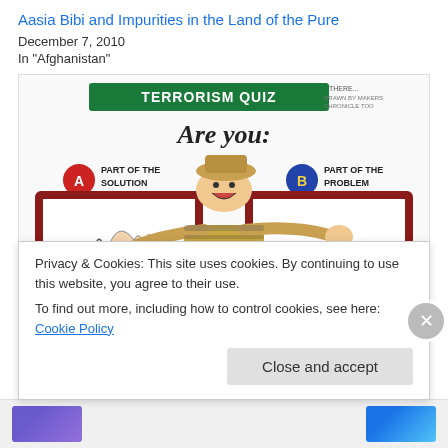Aasia Bibi and Impurities in the Land of the Pure
December 7, 2010
In "Afghanistan"
[Figure (illustration): Political cartoon titled 'Terrorism Quiz' asking 'Are you: A) Part of the Solution B) Part of the Problem' showing a figure labeled Pakistan straddling two frames]
With Friends Like Pakistan…
Privacy & Cookies: This site uses cookies. By continuing to use this website, you agree to their use.
To find out more, including how to control cookies, see here: Cookie Policy